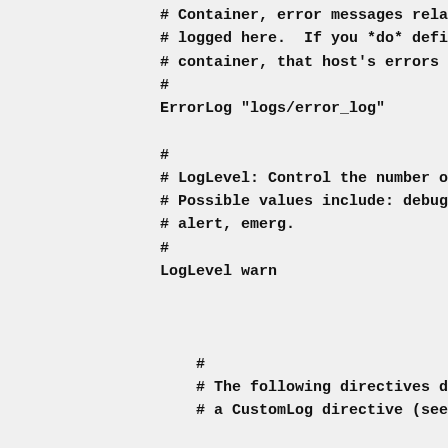# Container, error messages rela
# logged here.  If you *do* defi
# container, that host's errors w
#
ErrorLog "logs/error_log"

#
# LogLevel: Control the number o
# Possible values include: debug,
# alert, emerg.
#
LogLevel warn


    #
    # The following directives de
    # a CustomLog directive (see